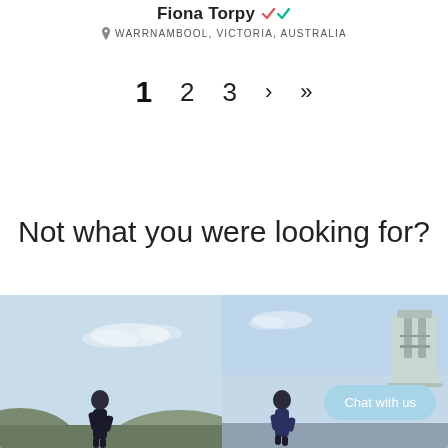Fiona Torpy ✓✓ WARRNAMBOOL, VICTORIA, AUSTRALIA
1  2  3  >  >>
Not what you were looking for?
[Figure (photo): Two side-by-side outdoor photos of women against a blue sky. Left photo: woman in dark jacket outdoors in a coastal/hilly setting. Right photo: woman near a lifeguard tower. A 'Chat with us' button overlays the right photo.]